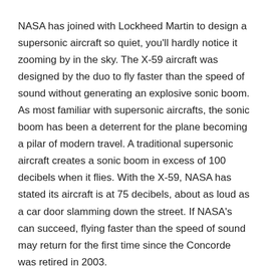NASA has joined with Lockheed Martin to design a supersonic aircraft so quiet, you'll hardly notice it zooming by in the sky. The X-59 aircraft was designed by the duo to fly faster than the speed of sound without generating an explosive sonic boom. As most familiar with supersonic aircrafts, the sonic boom has been a deterrent for the plane becoming a pilar of modern travel. A traditional supersonic aircraft creates a sonic boom in excess of 100 decibels when it flies. With the X-59, NASA has stated its aircraft is at 75 decibels, about as loud as a car door slamming down the street. If NASA's can succeed, flying faster than the speed of sound may return for the first time since the Concorde was retired in 2003.